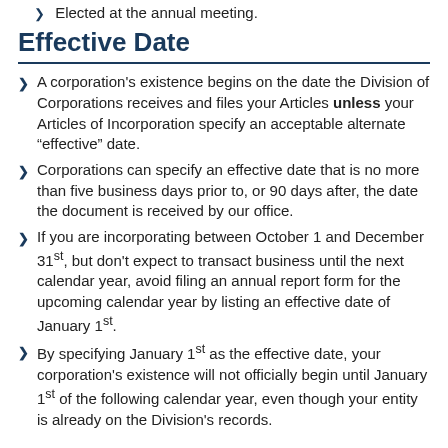Elected at the annual meeting.
Effective Date
A corporation's existence begins on the date the Division of Corporations receives and files your Articles unless your Articles of Incorporation specify an acceptable alternate “effective” date.
Corporations can specify an effective date that is no more than five business days prior to, or 90 days after, the date the document is received by our office.
If you are incorporating between October 1 and December 31st, but don't expect to transact business until the next calendar year, avoid filing an annual report form for the upcoming calendar year by listing an effective date of January 1st.
By specifying January 1st as the effective date, your corporation's existence will not officially begin until January 1st of the following calendar year, even though your entity is already on the Division's records.